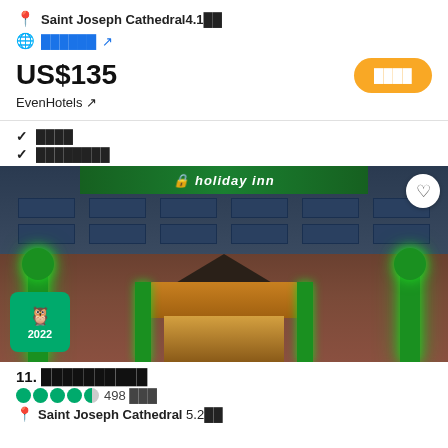📍 Saint Joseph Cathedral 4.1 mi
🌐 ██████ ↗
US$135
EvenHotels ↗
✓ ████
✓ ████████
[Figure (photo): Exterior night photo of Holiday Inn hotel with green accent lighting, TripAdvisor 2022 badge in lower left, heart/favorite button in upper right]
11. ██████████
498 ███
📍 Saint Joseph Cathedral 5.2 mi